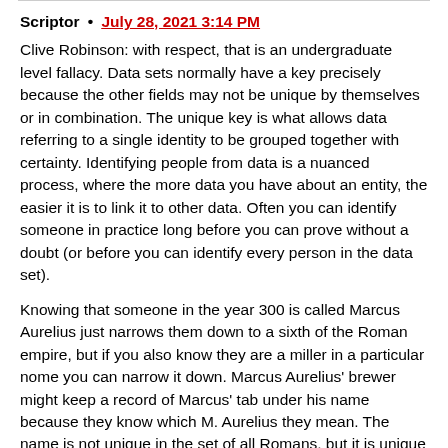Scriptor • July 28, 2021 3:14 PM
Clive Robinson: with respect, that is an undergraduate level fallacy. Data sets normally have a key precisely because the other fields may not be unique by themselves or in combination. The unique key is what allows data referring to a single identity to be grouped together with certainty. Identifying people from data is a nuanced process, where the more data you have about an entity, the easier it is to link it to other data. Often you can identify someone in practice long before you can prove without a doubt (or before you can identify every person in the data set).
Knowing that someone in the year 300 is called Marcus Aurelius just narrows them down to a sixth of the Roman empire, but if you also know they are a miller in a particular nome you can narrow it down. Marcus Aurelius' brewer might keep a record of Marcus' tab under his name because they know which M. Aurelius they mean. The name is not unique in the set of all Romans, but it is unique in the list of customers which the brewer keeps in their head.